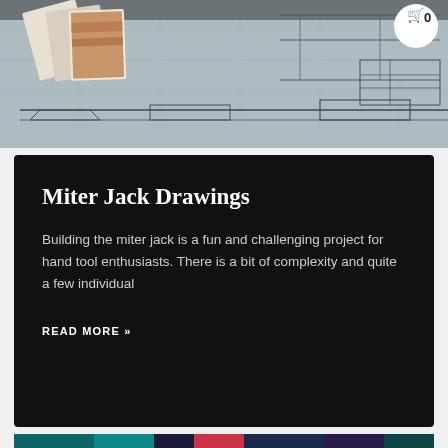[Figure (photo): Hero image showing engineering/woodworking blueprints and plans spread out, with photographs of wood samples. White circle with shopping cart icon and '0' in top right corner.]
Miter Jack Drawings
Building the miter jack is a fun and challenging project for hand tool enthusiasts. There is a bit of complexity and quite a few individual
READ MORE »
[Figure (illustration): Colorful illustration with teal, purple, and red colors showing a stylized robotic or industrial design.]